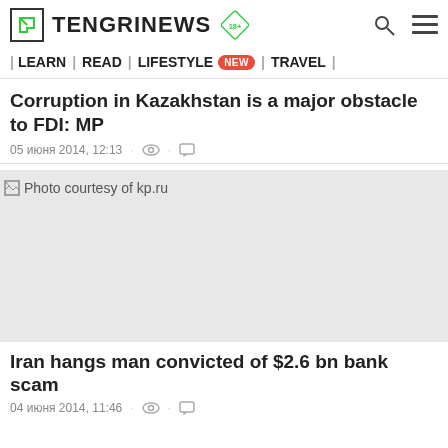TENGRINEWS 18+
| LEARN | READ | LIFESTYLE NEW | TRAVEL |
Corruption in Kazakhstan is a major obstacle to FDI: MP
05 июня 2014, 12:13
[Figure (photo): Photo courtesy of kp.ru — image placeholder shown as broken image icon]
Photo courtesy of kp.ru
Iran hangs man convicted of $2.6 bn bank scam